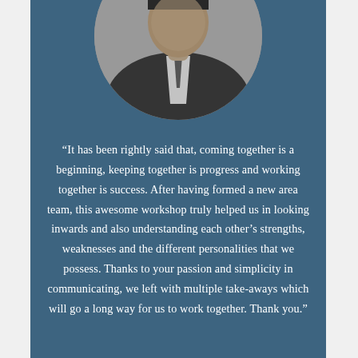[Figure (photo): Black and white circular portrait photo of a man in a suit and tie, cropped to show torso and partial face at top]
“It has been rightly said that, coming together is a beginning, keeping together is progress and working together is success. After having formed a new area team, this awesome workshop truly helped us in looking inwards and also understanding each other’s strengths, weaknesses and the different personalities that we possess. Thanks to your passion and simplicity in communicating, we left with multiple take-aways which will go a long way for us to work together. Thank you.”